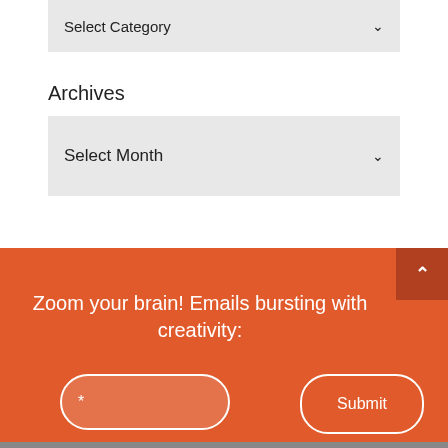[Figure (screenshot): Select Category dropdown box with chevron arrow, grey background]
Archives
[Figure (screenshot): Select Month dropdown box with chevron arrow, grey background]
Zoom your brain! Emails bursting with creativity:
[Figure (screenshot): Email input field with asterisk placeholder and Submit button on orange background, with back-to-top arrow button]